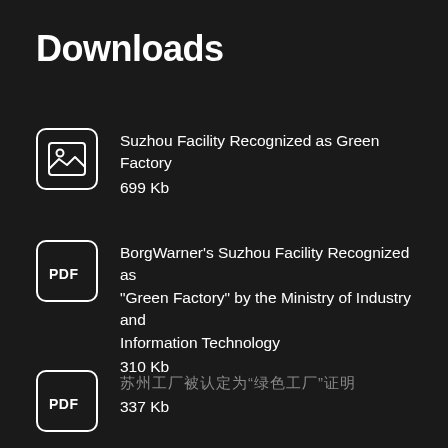Downloads
Suzhou Facility Recognized as Green Factory
699 Kb
BorgWarner’s Suzhou Facility Recognized as “Green Factory” by the Ministry of Industry and Information Technology
310 Kb
苏州工厂被认定为“绿色工厂”证明
337 Kb